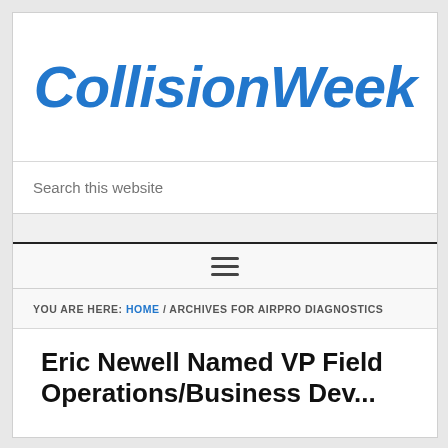CollisionWeek
Search this website
≡
YOU ARE HERE: HOME / ARCHIVES FOR AIRPRO DIAGNOSTICS
Eric Newell Named VP Field Operations/Business Dev...